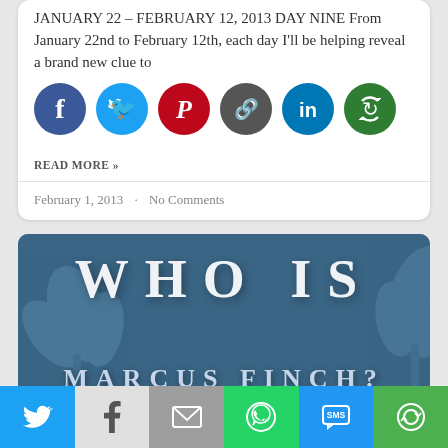JANUARY 22 – FEBRUARY 12, 2013 DAY NINE From January 22nd to February 12th, each day I'll be helping reveal a brand new clue to
[Figure (infographic): Row of six social media sharing icons: Facebook (dark blue), Twitter (light blue), Pinterest (red), Link/chain (dark gray), LinkedIn (blue), and a green circular-arrows icon]
READ MORE »
February 1, 2013  ·  No Comments
[Figure (illustration): Blue-toned banner image with decorative leaf/plant silhouettes in background. Large white bold text reads 'WHO IS' on two lines, with 'MARCUS FINCH?' in smaller spaced white text below.]
[Figure (infographic): Bottom share bar with six colored buttons: Twitter (cyan), Facebook (gray), Mail (gray), WhatsApp (green), SMS (blue), More/circular arrows (green)]